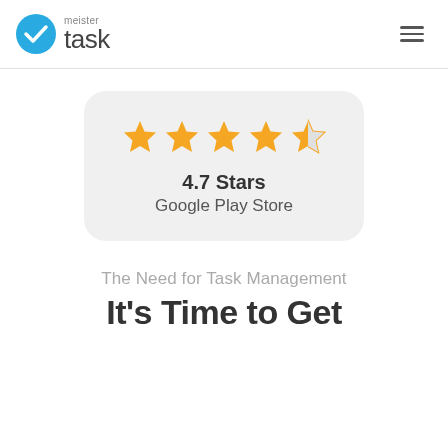[Figure (logo): MeisterTask logo with blue circle checkmark and text 'meister task']
[Figure (infographic): Rating card showing 4.7 stars (4 full stars and 1 half star) with text '4.7 Stars' and 'Google Play Store' on a light gray rounded rectangle background]
The Need for Task Management
It’s Time to Get